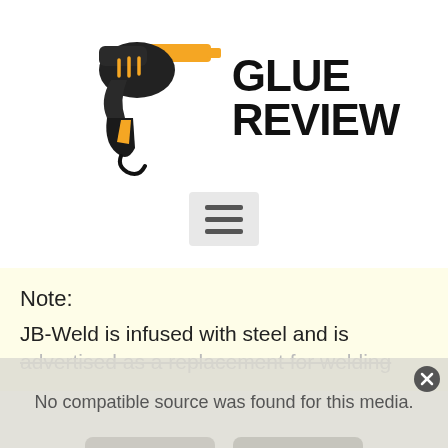[Figure (logo): Glue Review logo: cartoon hot glue gun (black with orange accents) facing right, with bold text 'GLUE REVIEW' to the right]
[Figure (other): Hamburger menu button (three horizontal bars) on a light grey rounded rectangle background]
Note:
JB-Weld is infused with steel and is advertised as a replacement for welding
[Figure (other): Video player overlay showing 'No compatible source was found for this media.' with close button and broken media icons with X marks]